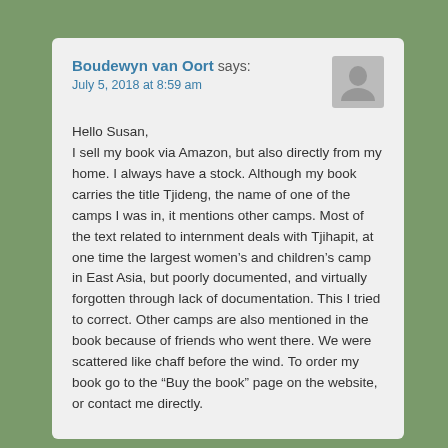Boudewyn van Oort says:
July 5, 2018 at 8:59 am
Hello Susan,
I sell my book via Amazon, but also directly from my home. I always have a stock. Although my book carries the title Tjideng, the name of one of the camps I was in, it mentions other camps. Most of the text related to internment deals with Tjihapit, at one time the largest women's and children's camp in East Asia, but poorly documented, and virtually forgotten through lack of documentation. This I tried to correct. Other camps are also mentioned in the book because of friends who went there. We were scattered like chaff before the wind. To order my book go to the “Buy the book” page on the website, or contact me directly.